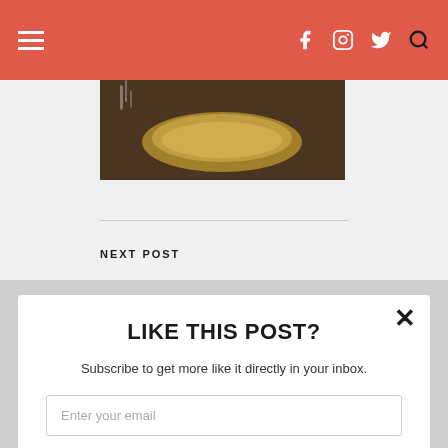PREVIOUS POST
[Figure (photo): Food photo showing a bowl of soup or curry on dark background with steam rising]
NEXT POST
LIKE THIS POST?
Subscribe to get more like it directly in your inbox.
Enter your email
Subscribe
powered by MailMunch